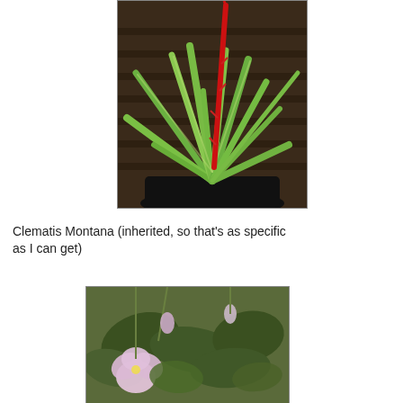[Figure (photo): A plant with long green spiky leaves and a tall red spike/flower stalk rising from the center, photographed against a dark brown fence or panel background.]
Clematis Montana (inherited, so that's as specific as I can get)
[Figure (photo): A Clematis Montana plant with light pink/lavender flowers and green leaves, partially visible at the bottom of the page.]